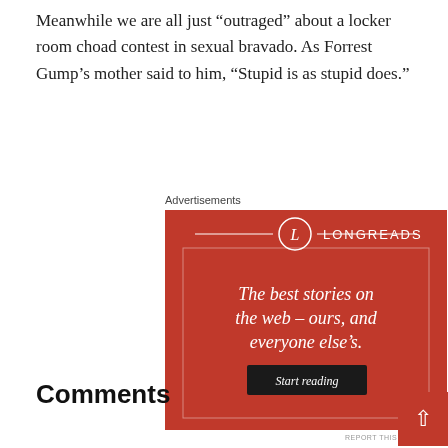Meanwhile we are all just “outraged” about a locker room choad contest in sexual bravado. As Forrest Gump’s mother said to him, “Stupid is as stupid does.”
Advertisements
[Figure (other): Longreads advertisement banner with red background. Logo circle with 'L' and text 'LONGREADS'. Ad copy reads: 'The best stories on the web – ours, and everyone else’s.' with a dark button labeled 'Start reading'.]
REPORT THIS AD
Comments